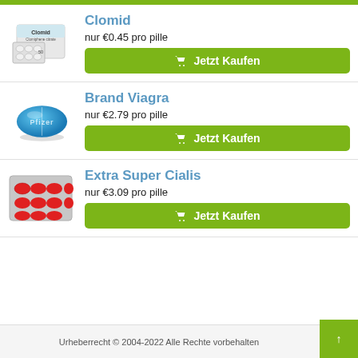[Figure (photo): Top green bar strip]
Clomid
nur €0.45 pro pille
🛒 Jetzt Kaufen
[Figure (photo): Clomid medicine box and blister pack]
Brand Viagra
nur €2.79 pro pille
🛒 Jetzt Kaufen
[Figure (photo): Blue Pfizer Viagra diamond-shaped pill]
Extra Super Cialis
nur €3.09 pro pille
🛒 Jetzt Kaufen
[Figure (photo): Red capsule blister pack]
Urheberrecht © 2004-2022 Alle Rechte vorbehalten